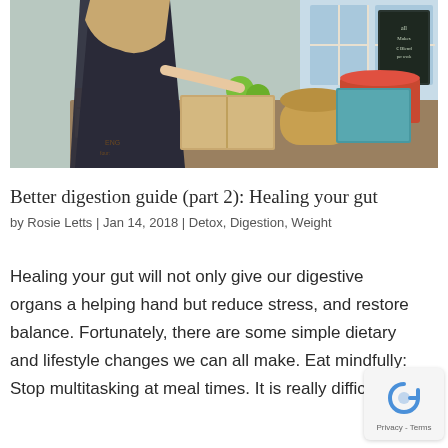[Figure (photo): A woman at an outdoor market or produce stand, reaching toward green apples in a wooden crate. Various fruits and vegetables are displayed in wooden boxes and baskets. A chalkboard sign is visible in the background. The woman wears a dark jacket and is being assisted by another person.]
Better digestion guide (part 2): Healing your gut
by Rosie Letts | Jan 14, 2018 | Detox, Digestion, Weight
Healing your gut will not only give our digestive organs a helping hand but reduce stress, and restore balance. Fortunately, there are some simple dietary and lifestyle changes we can all make. Eat mindfully: Stop multitasking at meal times. It is really difficult to...